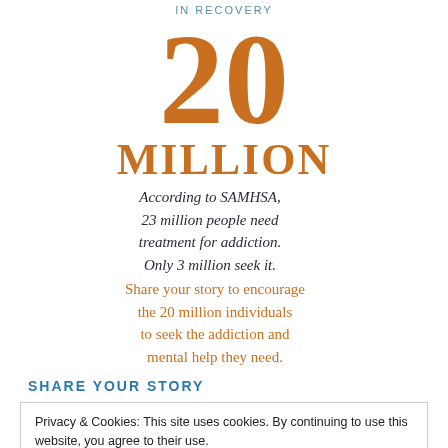IN RECOVERY
20 MILLION
According to SAMHSA, 23 million people need treatment for addiction. Only 3 million seek it.
Share your story to encourage the 20 million individuals to seek the addiction and mental help they need.
SHARE YOUR STORY
Privacy & Cookies: This site uses cookies. By continuing to use this website, you agree to their use.
To find out more, including how to control cookies, see here: Cookie Policy